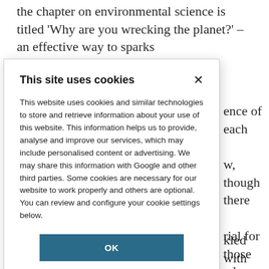the chapter on environmental science is titled 'Why are you wrecking the planet?' – an effective way to sparks
ence of each w, though there rial for those who ns of the material s may find source material tainly be thankful ne spots to drop
This site uses cookies
This website uses cookies and similar technologies to store and retrieve information about your use of this website. This information helps us to provide, analyse and improve our services, which may include personalised content or advertising. We may share this information with Google and other third parties. Some cookies are necessary for our website to work properly and others are optional. You can review and configure your cookie settings below.
OK
COOKIE SETTINGS
kled with ample , including what I